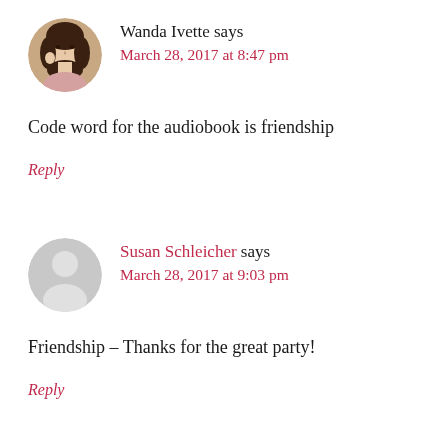[Figure (photo): Circular avatar photo of Wanda Ivette, a woman with dark hair]
Wanda Ivette says
March 28, 2017 at 8:47 pm
Code word for the audiobook is friendship
Reply
[Figure (photo): Generic circular gray avatar placeholder for Susan Schleicher]
Susan Schleicher says
March 28, 2017 at 9:03 pm
Friendship – Thanks for the great party!
Reply